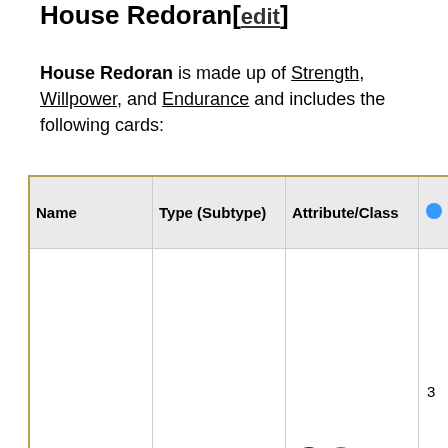House Redoran[edit]
House Redoran is made up of Strength, Willpower, and Endurance and includes the following cards:
| Name | Type (Subtype) | Attribute/Class | ● | ♦ | ● |
| --- | --- | --- | --- | --- | --- |
| Bolvyn Venim | Creature (Dark Elf) | Willpower / House Redoran | 3 | 3 | 3 |